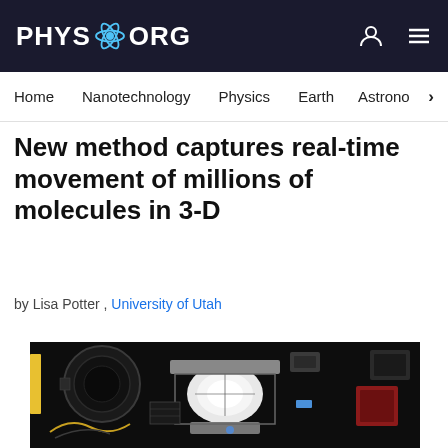PHYS.ORG
Home  Nanotechnology  Physics  Earth  Astronomy
New method captures real-time movement of millions of molecules in 3-D
by Lisa Potter , University of Utah
[Figure (photo): Laboratory optical/microscopy equipment photographed from above, showing lenses, metal mounts, cables, and a bright central light source on a dark optical table]